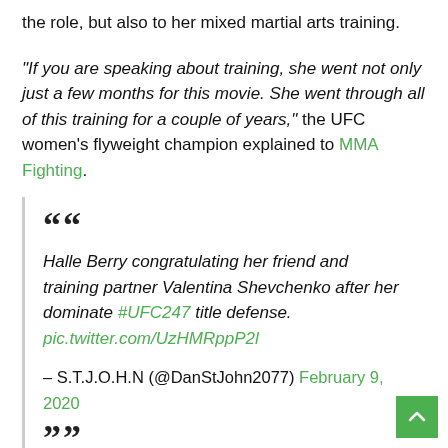the role, but also to her mixed martial arts training.
"If you are speaking about training, she went not only just a few months for this movie. She went through all of this training for a couple of years," the UFC women's flyweight champion explained to MMA Fighting.
Halle Berry congratulating her friend and training partner Valentina Shevchenko after her dominate #UFC247 title defense. pic.twitter.com/UzHMRppP2l
— S.T.J.O.H.N (@DanStJohn2077) February 9, 2020
"She was training for three or four years. She was training Muay Thai. She was training jiu-jitsu. She did a lot of